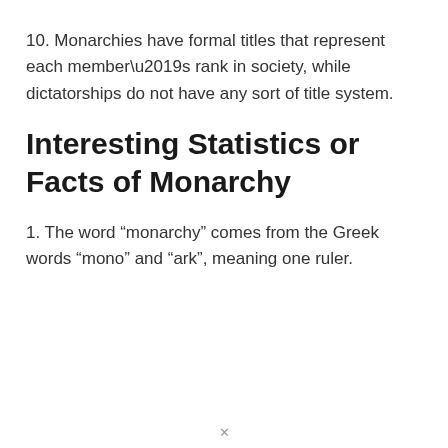10. Monarchies have formal titles that represent each member’s rank in society, while dictatorships do not have any sort of title system.
Interesting Statistics or Facts of Monarchy
1. The word “monarchy” comes from the Greek words “mono” and “ark”, meaning one ruler.